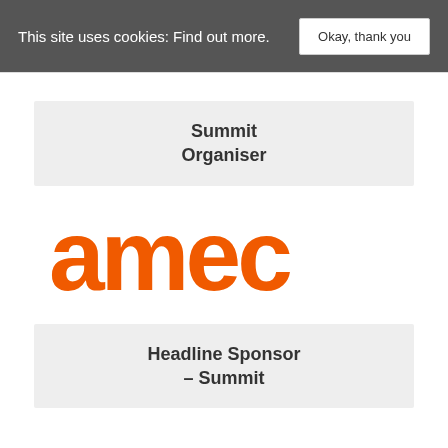This site uses cookies: Find out more.
Summit Organiser
[Figure (logo): AMEC logo in large orange bold lowercase text reading 'amec']
Headline Sponsor – Summit